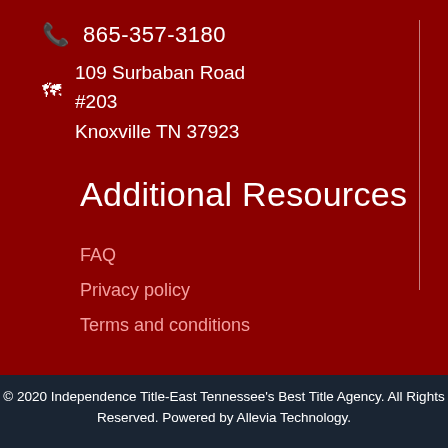865-357-3180
109 Surbaban Road
#203
Knoxville TN 37923
Additional Resources
FAQ
Privacy policy
Terms and conditions
© 2020 Independence Title-East Tennessee's Best Title Agency. All Rights Reserved. Powered by Allevia Technology.